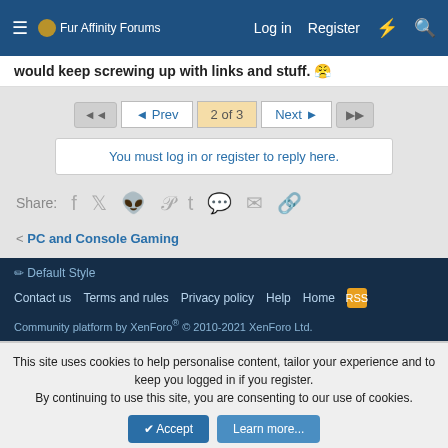Fur Affinity Forums | Log in | Register
would keep screwing up with links and stuff. 😤
◄◄  ◄ Prev  2 of 3  Next ►  ►►
You must log in or register to reply here.
Share: Facebook Twitter Reddit Pinterest Tumblr WhatsApp Email Link
< PC and Console Gaming
Default Style
Contact us  Terms and rules  Privacy policy  Help  Home  [RSS]
Community platform by XenForo® © 2010-2021 XenForo Ltd.
This site uses cookies to help personalise content, tailor your experience and to keep you logged in if you register. By continuing to use this site, you are consenting to our use of cookies.
Accept  Learn more...